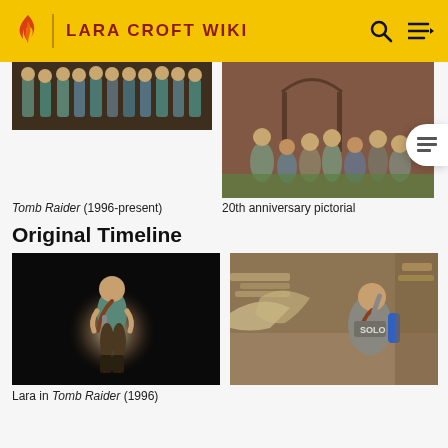LARA CROFT WIKI
[Figure (photo): Multiple Lara Croft character designs shown together in a group, from the Tomb Raider franchise]
Tomb Raider (1996-present)
[Figure (photo): 20th anniversary pictorial showing various Lara Croft designs sitting together outdoors]
20th anniversary pictorial
Original Timeline
[Figure (photo): Lara Croft character render from the original Tomb Raider 1996 game, on black background with circular light]
Lara in Tomb Raider (1996)
[Figure (photo): Lara Croft in-game screenshot wearing SOLO branded outfit, holding weapon, with stone architecture background]